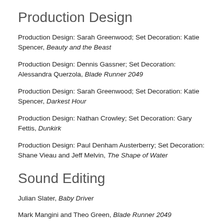Production Design
Production Design: Sarah Greenwood; Set Decoration: Katie Spencer, Beauty and the Beast
Production Design: Dennis Gassner; Set Decoration: Alessandra Querzola, Blade Runner 2049
Production Design: Sarah Greenwood; Set Decoration: Katie Spencer, Darkest Hour
Production Design: Nathan Crowley; Set Decoration: Gary Fettis, Dunkirk
Production Design: Paul Denham Austerberry; Set Decoration: Shane Vieau and Jeff Melvin, The Shape of Water
Sound Editing
Julian Slater, Baby Driver
Mark Mangini and Theo Green, Blade Runner 2049
Richard King and Alex Gibson, Dunkirk
Nathan Robitaille and Nelson Ferreira, The Shape of Water
Matthew Wood and Ren Klyce, Star Wars: The Last Jedi
Sound Mixing